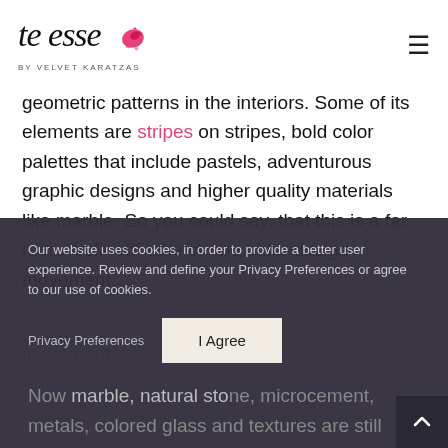te esse by VELVET KARATZAS [logo with pink splash]
geometric patterns in the interiors. Some of its elements are stripes on stripes, bold color palettes that include pastels, adventurous graphic designs and higher quality materials like marble. So you could say, that this is a far more “refined” take on the older design movement.
Our website uses cookies, in order to provide a better user experience. Review and define your Privacy Preferences or agree to our use of cookies.
Privacy Preferences   I Agree
Now marble, natural stone, microcement, metals, colored glass and textures are still some of the key interiors materials to look for this...